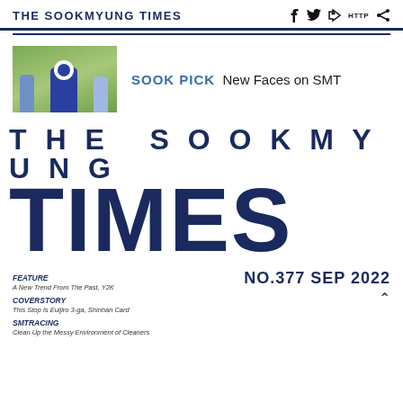THE SOOKMYUNG TIMES
[Figure (photo): Photo of people standing with a mascot character outdoors]
SOOK PICK  New Faces on SMT
THE SOOKMYUNG TIMES
NO.377 SEP 2022
FEATURE
A New Trend From The Past, Y2K
COVERSTORY
This Stop Is Euljiro 3-ga, Shinhan Card
SMTRACING
Clean Up the Messy Environment of Cleaners